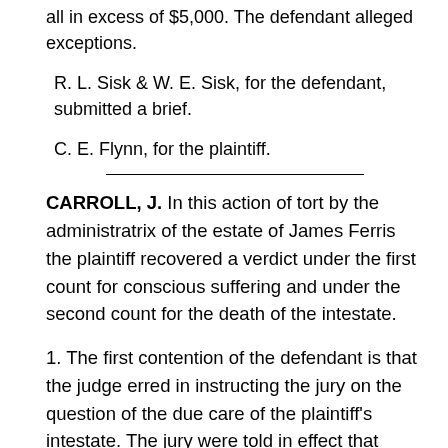all in excess of $5,000. The defendant alleged exceptions.
R. L. Sisk & W. E. Sisk, for the defendant, submitted a brief.
C. E. Flynn, for the plaintiff.
CARROLL, J. In this action of tort by the administratrix of the estate of James Ferris the plaintiff recovered a verdict under the first count for conscious suffering and under the second count for the death of the intestate.
1. The first contention of the defendant is that the judge erred in instructing the jury on the question of the due care of the plaintiff's intestate. The jury were told in effect that when the trial opened the deceased was presumed to be in the exercise of due care, but when "the evidence is put in, then the presumption disappears and you will judge then as to whether or not